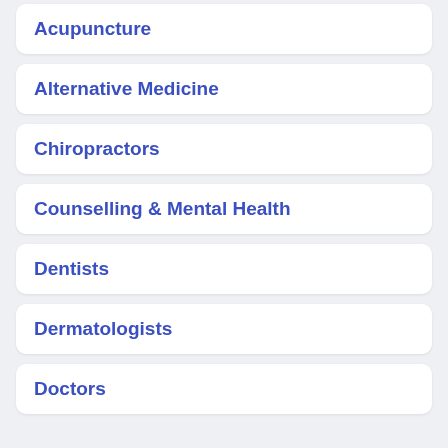Acupuncture
Alternative Medicine
Chiropractors
Counselling & Mental Health
Dentists
Dermatologists
Doctors